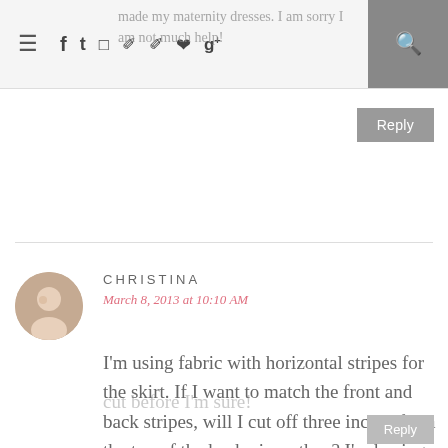Navigation bar with menu, social icons, and search
made my maternity dresses. I am sorry I am not much help!
Reply
CHRISTINA
March 8, 2013 at 10:10 AM
I'm using fabric with horizontal stripes for the skirt. If I want to match the front and back stripes, will I cut off three inches from the top of the back piece, then? I'm having trouble visualizing and don't want to cut before I'm sure!
Reply